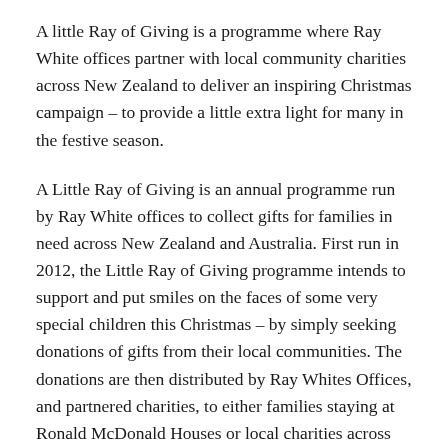A little Ray of Giving is a programme where Ray White offices partner with local community charities across New Zealand to deliver an inspiring Christmas campaign – to provide a little extra light for many in the festive season.
A Little Ray of Giving is an annual programme run by Ray White offices to collect gifts for families in need across New Zealand and Australia. First run in 2012, the Little Ray of Giving programme intends to support and put smiles on the faces of some very special children this Christmas – by simply seeking donations of gifts from their local communities. The donations are then distributed by Ray Whites Offices, and partnered charities, to either families staying at Ronald McDonald Houses or local charities across New Zealand.
More than 3,000 gifts were collected by Ray White in New Zealand alone in the 2014 year, and countless donations of food, vouchers and other items were also donated via the programme. Christmas is a special time of year shared with family, spending quality time with one another and enjoying the festivities. However,